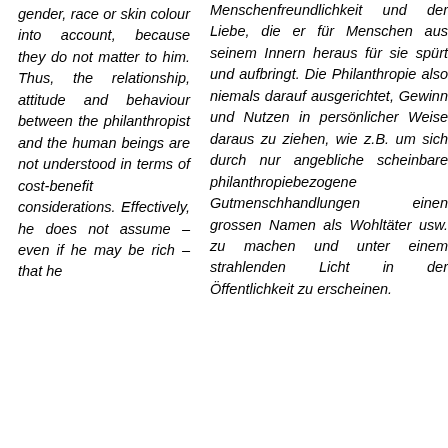gender, race or skin colour into account, because they do not matter to him. Thus, the relationship, attitude and behaviour between the philanthropist and the human beings are not understood in terms of cost-benefit considerations. Effectively, he does not assume – even if he may be rich – that he
Menschenfreundlichkeit und der Liebe, die er für Menschen aus seinem Innern heraus für sie spürt und aufbringt. Die Philanthropie also niemals darauf ausgerichtet, Gewinn und Nutzen in persönlicher Weise daraus zu ziehen, wie z.B. um sich durch nur angebliche scheinbare philanthropiebezogene Gutmenschhandlungen einen grossen Namen als Wohltäter usw. zu machen und unter einem strahlenden Licht in der Öffentlichkeit zu erscheinen.